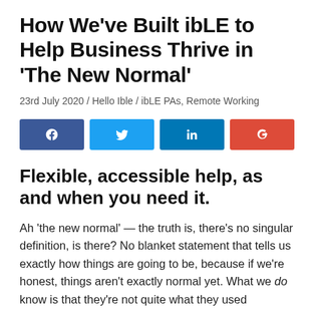How We've Built ibLE to Help Business Thrive in 'The New Normal'
23rd July 2020 / Hello Ible / ibLE PAs, Remote Working
[Figure (infographic): Social sharing buttons: Facebook (blue), Twitter (light blue), LinkedIn (blue), Google+ (red)]
Flexible, accessible help, as and when you need it.
Ah 'the new normal' — the truth is, there's no singular definition, is there? No blanket statement that tells us exactly how things are going to be, because if we're honest, things aren't exactly normal yet. What we do know is that they're not quite what they used